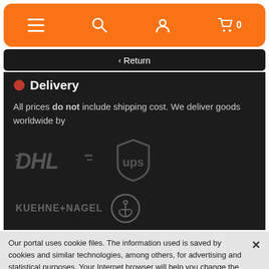[Figure (screenshot): Orange navigation bar with hamburger menu, search icon, user icon, and cart icon with 0 count]
< Return
Delivery
All prices do not include shipping cost. We deliver goods worldwide by
[Figure (logo): DHL logo in dark gray]
[Figure (logo): UPS logo shield in dark gray]
[Figure (logo): Kuehne+Nagel logo with anchor icon in dark gray]
Our portal uses cookie files. The information used is saved by cookies and similar technologies, among others, for advertising and statistical purposes. Your Internet browser will help you change the cookie settings. Regulations